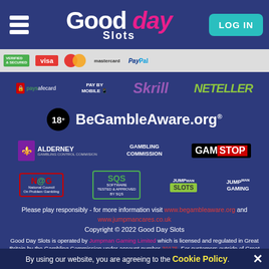[Figure (logo): Good Day Slots website header with hamburger menu, logo (Good Day Slots), and LOG IN button]
[Figure (logo): Payment methods strip showing Verified & Secured, Visa, Mastercard, PayPal badges]
[Figure (logo): Payment logos: paysafecard, Pay By Mobile, Skrill, NETELLER]
[Figure (logo): BeGambleAware.org logo with 18+ badge]
[Figure (logo): Alderney Gambling Control Commission, Gambling Commission, and GamStop logos]
[Figure (logo): NCG, SQS Software Tested & Approved, Jumpman Slots, Jumpman Gaming logos]
Please play responsibly - for more information visit www.begambleaware.org and www.jumpmancares.co.uk
Copyright © 2022 Good Day Slots
Good Day Slots is operated by Jumpman Gaming Limited which is licensed and regulated in Great Britain by the Gambling Commission under account number 39175. For customers outside of Great Britain Good Day Slots is regulated by the Alderney Gambling Control Commission. Registered business address (no correspondence): La Corvee House, La Corvee, Alderney, Channel Islands, GY9
By using our website, you are agreeing to the Cookie Policy.